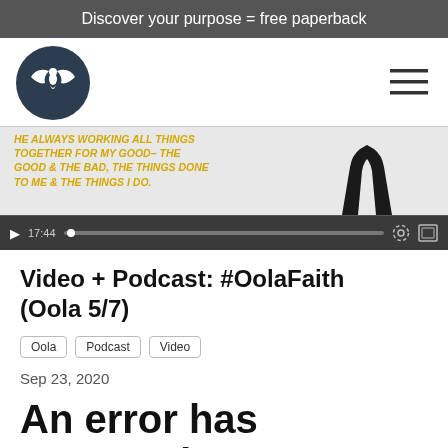Discover your purpose = free paperback
[Figure (logo): Circular dark logo with stylized bird/phoenix and wings icon, site navigation header with hamburger menu]
[Figure (screenshot): Video thumbnail with yellow italic text 'HE ALWAYS WORKING ALL THINGS TOGETHER FOR MY GOOD– THE GOOD & THE BAD, THE THINGS DONE TO ME & THE THINGS I DO.' and black praying hands silhouette on right, with video player bar showing 17:44 timestamp]
Video + Podcast: #OolaFaith (Oola 5/7)
Oola
Podcast
Video
Sep 23, 2020
An error has occurred